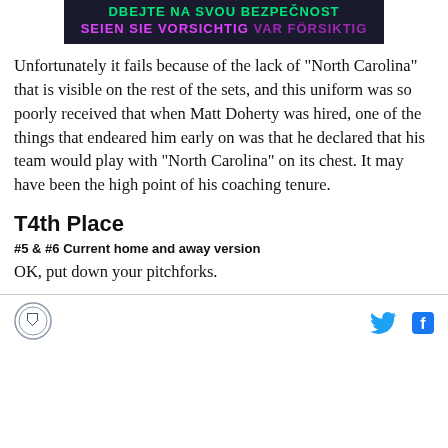[Figure (other): Dark banner with multilingual safety warning text in green and pink/purple]
Unfortunately it fails because of the lack of “North Carolina” that is visible on the rest of the sets, and this uniform was so poorly received that when Matt Doherty was hired, one of the things that endeared him early on was that he declared that his team would play with “North Carolina” on its chest. It may have been the high point of his coaching tenure.
T4th Place
#5 & #6 Current home and away version
OK, put down your pitchforks.
Logo and social media icons